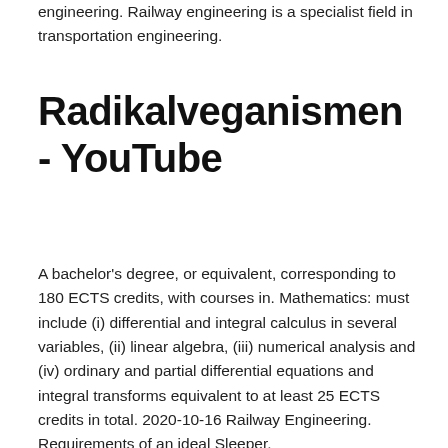engineering. Railway engineering is a specialist field in transportation engineering.
Radikalveganismen - YouTube
A bachelor's degree, or equivalent, corresponding to 180 ECTS credits, with courses in. Mathematics: must include (i) differential and integral calculus in several variables, (ii) linear algebra, (iii) numerical analysis and (iv) ordinary and partial differential equations and integral transforms equivalent to at least 25 ECTS credits in total. 2020-10-16 Railway Engineering. Requirements of an ideal Sleeper.